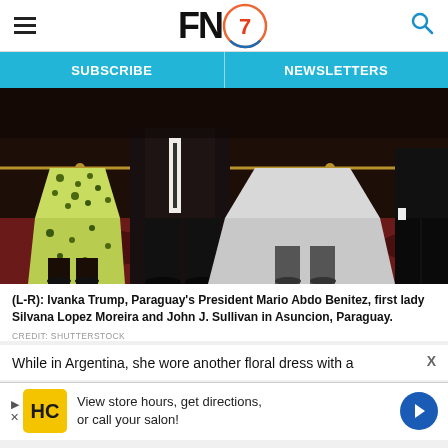FN7 (Footwear News logo) - hamburger menu and search icon
SUBSCRIBE | NEWSLETTERS
[Figure (photo): Photo showing lower bodies of four people standing together on a patterned carpet. Left: woman in yellow-green floral dress. Center-left: person in dark suit. Center-right: woman in light gray/white skirt. Right: person in dark suit.]
(L-R): Ivanka Trump, Paraguay’s President Mario Abdo Benitez, first lady Silvana Lopez Moreira and John J. Sullivan in Asuncion, Paraguay.
CREDIT: SHUTTERSTOCK
While in Argentina, she wore another floral dress with a
View store hours, get directions, or call your salon!